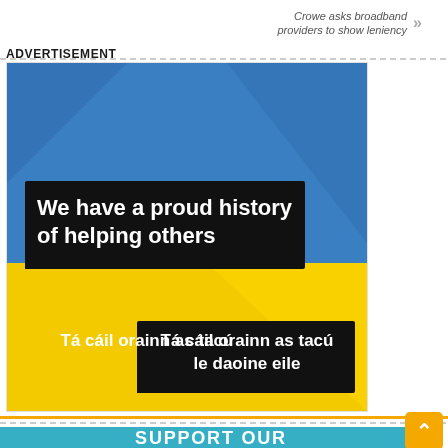Crowe asks broadband providers to show leniency
ADVERTISEMENT
[Figure (illustration): Advertisement image with Ukrainian flag colors (blue top half, yellow bottom half). Blue section has black text box reading 'We have a proud history of helping others'. Yellow section has black text box reading 'Tá cáil orainn as tacú le daoine eile'.]
[Figure (illustration): Bottom advertisement banner with teal background and white bold text reading 'SUPPORT OUR', with an orange scroll-to-top button with chevron arrow on the right.]